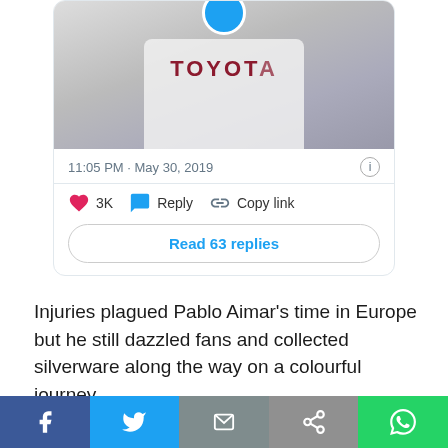[Figure (screenshot): Twitter/X tweet card showing a photo of a person wearing a white Toyota jersey with social interaction buttons: 3K likes, Reply, Copy link, and Read 63 replies button. Timestamp: 11:05 PM · May 30, 2019]
Injuries plagued Pablo Aimar's time in Europe but he still dazzled fans and collected silverware along the way on a colourful journey.
↓ Juan Román Riquelme
[Figure (infographic): Social media share bar with Facebook, Twitter, Email, Link, and WhatsApp buttons]